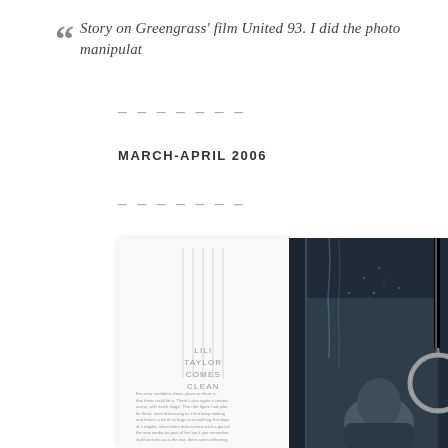Story on Greengrass' film United 93. I did the photo manipulat
– – – – – – –
MARCH-APRIL 2006
– – – – – – –
[Figure (photo): Magazine spread showing a page with vertical lines and 'LILI TAYLOR COMES CLEAN' title on the left, and a dark moody photograph of a person in a shower or wet environment on the right.]